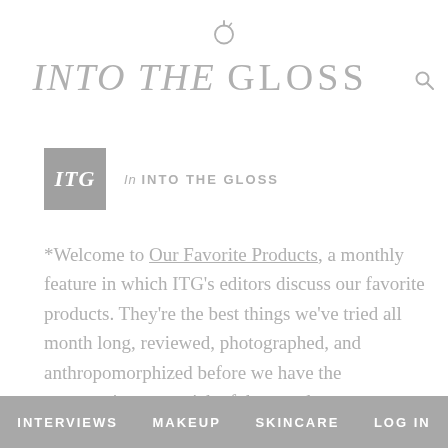INTO THE GLOSS
In INTO THE GLOSS
*Welcome to Our Favorite Products, a monthly feature in which ITG’s editors discuss our favorite products. They’re the best things we’ve tried all month long, reviewed, photographed, and anthropomorphized before we have the opportunity to get sick of them and move on to something new. This month, you’ll find a few running themes: there are 2 Victoria Beckham products, 1 products under
INTERVIEWS   MAKEUP   SKINCARE   LOG IN